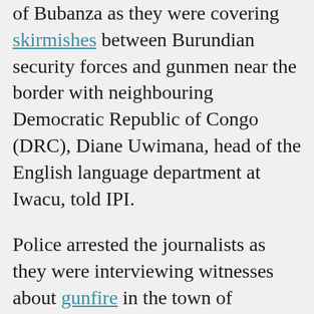of Bubanza as they were covering skirmishes between Burundian security forces and gunmen near the border with neighbouring Democratic Republic of Congo (DRC), Diane Uwimana, head of the English language department at Iwacu, told IPI.
Police arrested the journalists as they were interviewing witnesses about gunfire in the town of Musigati and transported them to the provincial police station in Bubanza, where they have been detained since, Uwimana said.
Those arrested were politics reporter Agnès Ndirubusa, broadcast reporter Christine Kamikazi, English service reporter Egide